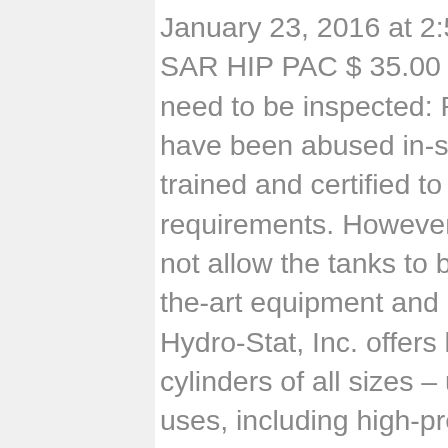January 23, 2016 at 2:53 pm Link. Sperian / Survivair 5 Min SAR HIP PAC $ 35.00 – $ 300.00 Select options. Cylinders need to be inspected: Prior to being filled When known to have been abused in-service As … Our technicians are trained and certified to meet Department of Transportation requirements. However, some permits once they expire do not allow the tanks to be used any longer. Using state-of-the-art equipment and a team of DOT-certified technicians, Hydro-Stat, Inc. offers hydrostatic cylinder testing on cylinders of all sizes – up to 10,000 psi – and for a variety of uses, including high-pressure, industrial, medical and scuba. We also provide various parts and supplies in the compressed gas business. Starts shipping mid November . New CFR 49 October 1, 2020 Must have for all DOT Licensed Cylinder Re-Testers. Choose from a complete line of air cylinders, including lightweight carbon, economical aluminum or affordable composite. 3/1/16. Cylinder Reconditioning. Air Fills & Cylinder Testing. Visual Plus 3 identifies 100% of these defective cylinders. Cylinders are repaired on-site at our Salt Lake City and Denver facilities. Member. These cylinders are no longer evaluated by the percentage of Permanent Expansion (% PE). WELCOME